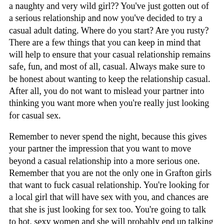a naughty and very wild girl?? You've just gotten out of a serious relationship and now you've decided to try a casual adult dating. Where do you start? Are you rusty? There are a few things that you can keep in mind that will help to ensure that your casual relationship remains safe, fun, and most of all, casual. Always make sure to be honest about wanting to keep the relationship casual. After all, you do not want to mislead your partner into thinking you want more when you're really just looking for casual sex.
Remember to never spend the night, because this gives your partner the impression that you want to move beyond a casual relationship into a more serious one. Remember that you are not the only one in Grafton girls that want to fuck casual relationship. You're looking for a local girl that will have sex with you, and chances are that she is just looking for sex too. You're going to talk to hot, sexy women and she will probably end up talking to sexy men or woman as well.
This is a casual sex date. Always take care of yourself. Make sure that, when you meet up, you are clean and ready for sex. With casual adult dating, she will be more likely to refuse sex if you do not look clean and ready to go. Remember that she is a fuck buddyand that you are looking for hot sex and nothing more.